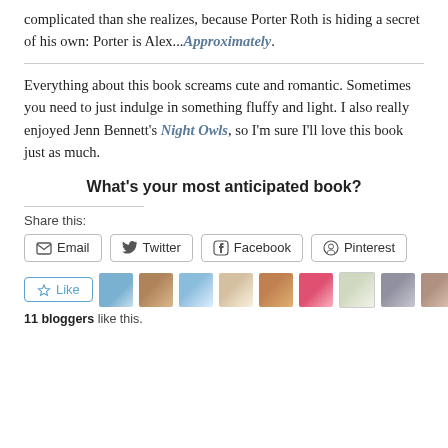complicated than she realizes, because Porter Roth is hiding a secret of his own: Porter is Alex...Approximately.
Everything about this book screams cute and romantic. Sometimes you need to just indulge in something fluffy and light. I also really enjoyed Jenn Bennett's Night Owls, so I'm sure I'll love this book just as much.
What's your most anticipated book?
Share this:
[Figure (screenshot): Social sharing buttons: Email, Twitter, Facebook, Pinterest]
[Figure (screenshot): Like button with star icon and 9 blogger avatar thumbnails]
11 bloggers like this.